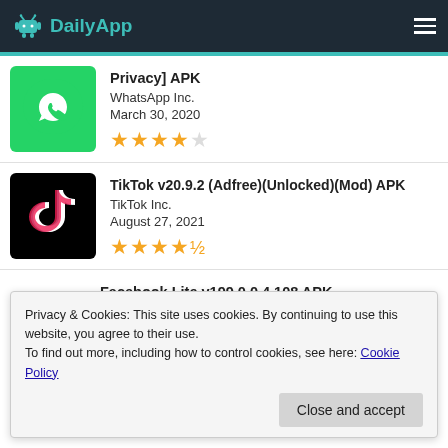DailyApp
[Figure (screenshot): WhatsApp green icon with phone handset]
Privacy] APK
WhatsApp Inc.
March 30, 2020
★★★★☆
[Figure (screenshot): TikTok black icon with musical note]
TikTok v20.9.2 (Adfree)(Unlocked)(Mod) APK
TikTok Inc.
August 27, 2021
★★★★½
[Figure (screenshot): Facebook blue icon with letter F]
Facebook Lite v199.0.0.4.108 APK
Facebook
Privacy & Cookies: This site uses cookies. By continuing to use this website, you agree to their use.
To find out more, including how to control cookies, see here: Cookie Policy
Close and accept